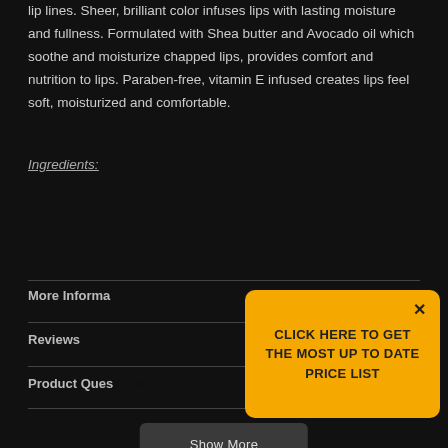lip lines. Sheer, brilliant color infuses lips with lasting moisture and fullness. Formulated with Shea butter and Avocado oil which soothe and moisturize chapped lips, provides comfort and nutrition to lips. Paraben-free, vitamin E infused creates lips feel soft, moisturized and comfortable.
Ingredients:
Show More
More Information
Reviews
Product Questions
CLICK HERE TO GET THE MOST UP TO DATE PRICE LIST